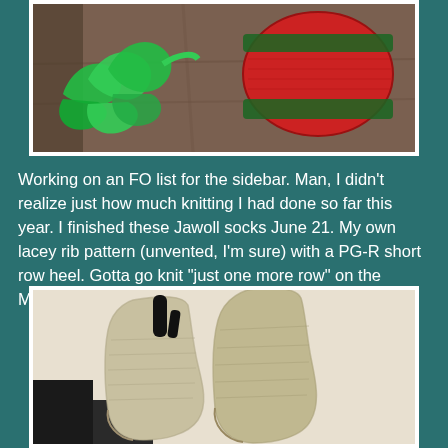[Figure (photo): Photo of green yarn/chain and a red-and-dark-green knitted object (sock or hat in progress) resting on a brown sofa]
Working on an FO list for the sidebar. Man, I didn't realize just how much knitting I had done so far this year. I finished these Jawoll socks June 21. My own lacey rib pattern (unvented, I'm sure) with a PG-R short row heel. Gotta go knit "just one more row" on the Monkey!
[Figure (photo): Photo of two completed light beige/tan knitted socks laid flat on a white surface, showing the top/dorsal view]